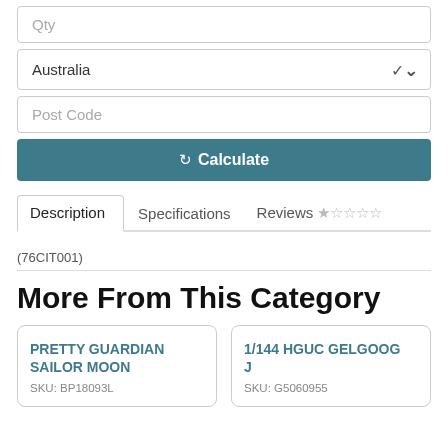Qty
Australia
Post Code
Calculate
Description  Specifications  Reviews ☆☆☆☆☆
(76CIT001)
More From This Category
PRETTY GUARDIAN SAILOR MOON
SKU: BP18093L
1/144 HGUC GELGOOG J
SKU: G5060955